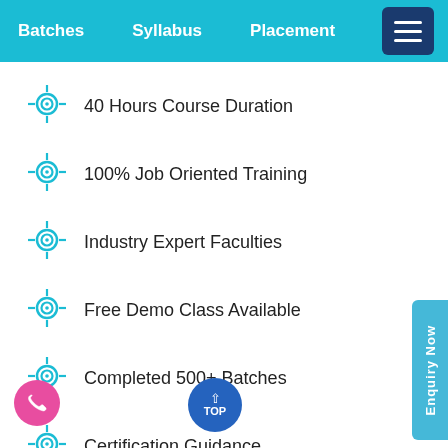Batches  Syllabus  Placement  La...
40 Hours Course Duration
100% Job Oriented Training
Industry Expert Faculties
Free Demo Class Available
Completed 500+ Batches
Certification Guidance
Authorized Partners
TE TRAINING INSTITUTE LTD is the unique Authorised Oracle Partner, Authorised Microsoft